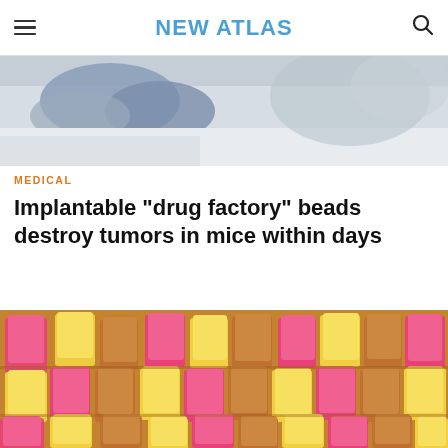NEW ATLAS
[Figure (photo): Close-up of gloved hands in a laboratory or medical setting, blurred background]
MEDICAL
Implantable "drug factory" beads destroy tumors in mice within days
[Figure (photo): Tray filled with many colorful packets and bags — pink, yellow, and brown/tan — arranged in rows, resembling pharmaceutical or drug packaging samples]